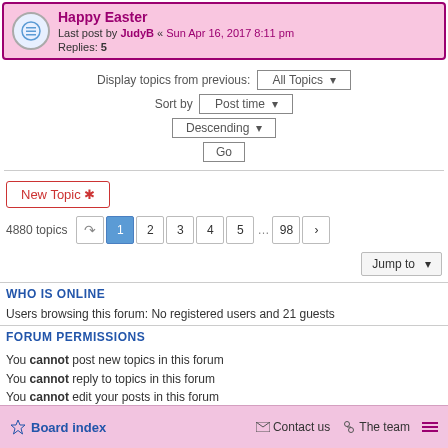Happy Easter
Last post by JudyB « Sun Apr 16, 2017 8:11 pm
Replies: 5
Display topics from previous: All Topics ▾
Sort by Post time ▾
Descending ▾
Go
New Topic *
4880 topics  1 2 3 4 5 ... 98 >
Jump to
WHO IS ONLINE
Users browsing this forum: No registered users and 21 guests
FORUM PERMISSIONS
You cannot post new topics in this forum
You cannot reply to topics in this forum
You cannot edit your posts in this forum
You cannot delete your posts in this forum
You cannot post attachments in this forum
Board index   Contact us   The team   ≡